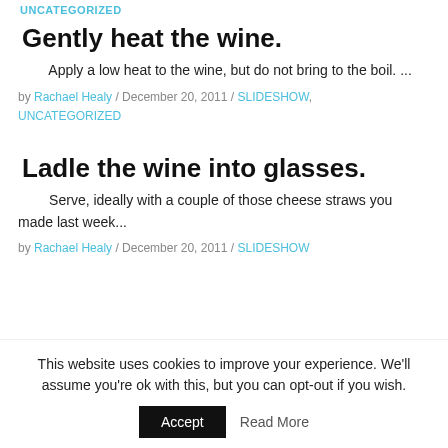UNCATEGORIZED
Gently heat the wine.
Apply a low heat to the wine, but do not bring to the boil. ...
by Rachael Healy / December 20, 2011 / SLIDESHOW, UNCATEGORIZED
Ladle the wine into glasses.
Serve, ideally with a couple of those cheese straws you made last week...
by Rachael Healy / December 20, 2011 / SLIDESHOW
This website uses cookies to improve your experience. We'll assume you're ok with this, but you can opt-out if you wish.
Accept   Read More